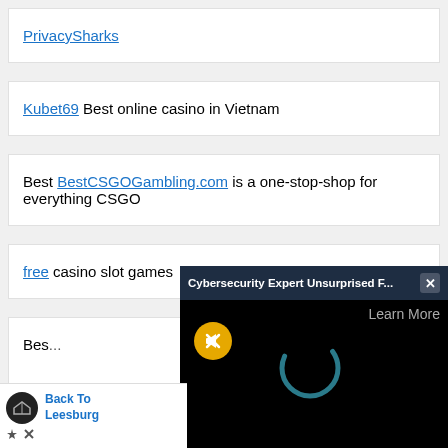PrivacySharks
Kubet69 Best online casino in Vietnam
Best BestCSGOGambling.com is a one-stop-shop for everything CSGO
free casino slot games
Bes...
[Figure (screenshot): Pop-up video ad overlay: dark header reading 'Cybersecurity Expert Unsurprised F...' with close button X, black video area with 'Learn More' text, yellow mute button, and a teal loading spinner.]